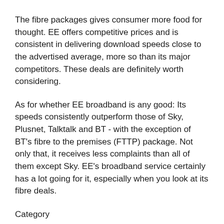The fibre packages gives consumer more food for thought. EE offers competitive prices and is consistent in delivering download speeds close to the advertised average, more so than its major competitors. These deals are definitely worth considering.
As for whether EE broadband is any good: Its speeds consistently outperform those of Sky, Plusnet, Talktalk and BT - with the exception of BT's fibre to the premises (FTTP) package. Not only that, it receives less complaints than all of them except Sky. EE's broadband service certainly has a lot going for it, especially when you look at its fibre deals.
Category
Broadband Reviews